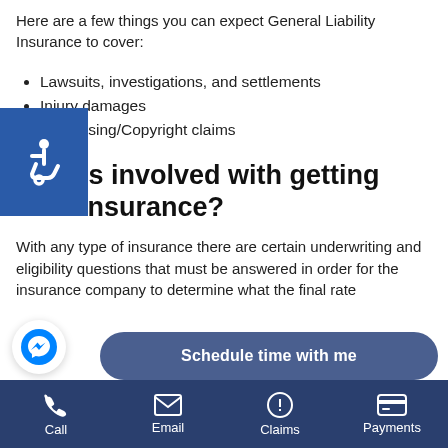Here are a few things you can expect General Liability Insurance to cover:
Lawsuits, investigations, and settlements
Injury damages
Advertising/Copyright claims
What's involved with getting CGL Insurance?
With any type of insurance there are certain underwriting and eligibility questions that must be answered in order for the insurance company to determine what the final rate...
[Figure (screenshot): Accessibility icon (wheelchair symbol) in a blue square overlay on the left side of the page]
[Figure (screenshot): Facebook Messenger chat bubble icon, white circle with blue messenger lightning bolt logo]
[Figure (screenshot): Schedule time with me button — dark blue rounded pill button with white bold text]
Call | Email | Claims | Payments